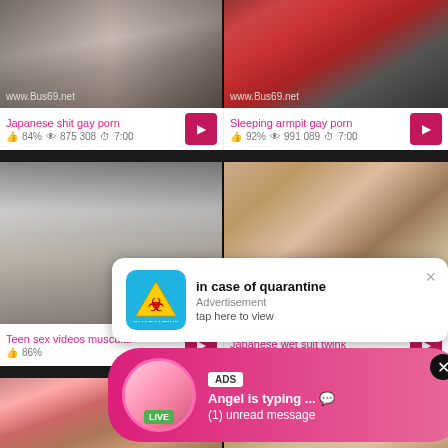[Figure (screenshot): Video thumbnail top-left with watermark www.Bus69.net]
[Figure (screenshot): Video thumbnail top-right with watermark www.Bus69.net]
Japanese shit gay porn 84% 875 308 7:00
Sleeping armpit gay porn 92% 991 089 7:00
[Figure (screenshot): Video thumbnail mid-left]
[Figure (screenshot): Video thumbnail mid-right]
Teen sex videos muscular 86%
Japanese wet suit twink
[Figure (screenshot): Video thumbnail bottom-left]
[Figure (screenshot): Video thumbnail bottom-right]
in case of quarantine Advertisement tap here to view
ADS Angel is typing ... 💬 (1) unread message